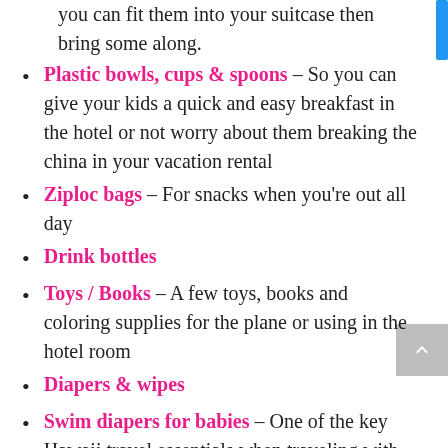you can fit them into your suitcase then bring some along.
Plastic bowls, cups & spoons – So you can give your kids a quick and easy breakfast in the hotel or not worry about them breaking the china in your vacation rental
Ziploc bags – For snacks when you're out all day
Drink bottles
Toys / Books – A few toys, books and coloring supplies for the plane or using in the hotel room
Diapers & wipes
Swim diapers for babies – One of the key Hawaii travel essentials when traveling with babies! This brand are great...